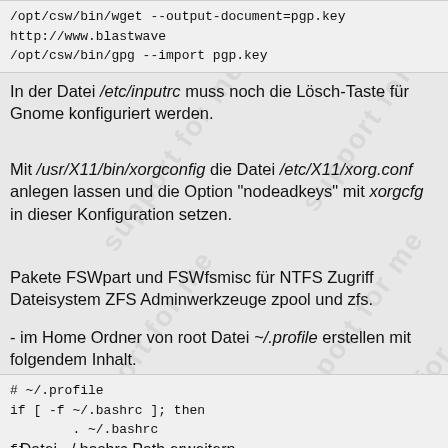/opt/csw/bin/wget --output-document=pgp.key http://www.blastwave...
/opt/csw/bin/gpg --import pgp.key
In der Datei /etc/inputrc muss noch die Lösch-Taste für Gnome konfiguriert werden.
Mit /usr/X11/bin/xorgconfig die Datei /etc/X11/xorg.conf anlegen lassen und die Option "nodeadkeys" mit xorgcfg in dieser Konfiguration setzen.
Pakete FSWpart und FSWfsmisc für NTFS Zugriff Dateisystem ZFS Adminwerkzeuge zpool und zfs.
- im Home Ordner von root Datei ~/.profile erstellen mit folgendem Inhalt.
# ~/.profile
if [ -f ~/.bashrc ]; then
        . ~/.bashrc
fi
- Datei ~/.bashrc Path erweitern.